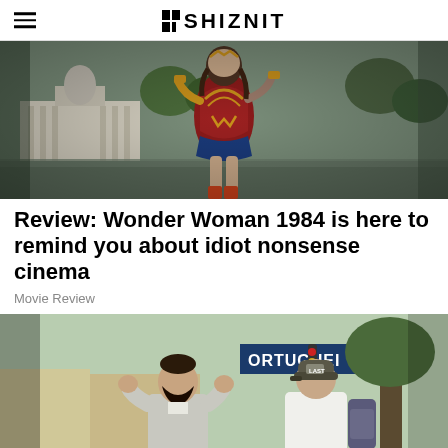THE SHIZNIT
[Figure (photo): Wonder Woman in her iconic red and gold armor running in front of the US Capitol building, surrounded by soldiers]
Review: Wonder Woman 1984 is here to remind you about idiot nonsense cinema
Movie Review
[Figure (photo): Two men on a street scene, one in a grey suit with dark beard adjusting his clothing, one in a white t-shirt and cap, with storefronts visible in background]